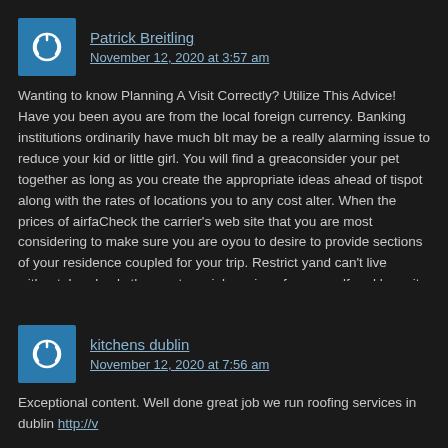Patrick Breitling
November 12, 2020 at 3:57 am
Wanting to know Planning A Visit Correctly? Utilize This Advice! Have you been a... you are from the local foreign currency. Banking institutions ordinarily have much b... It may be a really alarming issue to reduce your kid or little girl. You will find a grea... consider your pet together as long as you create the appropriate ideas ahead of ti... spot along with the rates of locations you to any cost alter. When the prices of airfa... Check the carrier's web site that you are most considering to make sure you are o... you to desire to provide sections of your residence coupled for your trip. Restrict y... and can't live without. Load only the most crucial versions for yourself and keep it... crucial toiletry items. Compose a list of toiletries you generally use daily and are tr... planning. Traveling sites help in preparing your trip's itinerary. You may reserve ev... also need use of pictures and critiques of lodges and never have to go everywhere... There are a selection of methods to produce your vacation a lot less demanding a...
kitchens dublin
November 12, 2020 at 7:56 am
Exceptional content. Well done great job we run roofing services in dublin http://v...